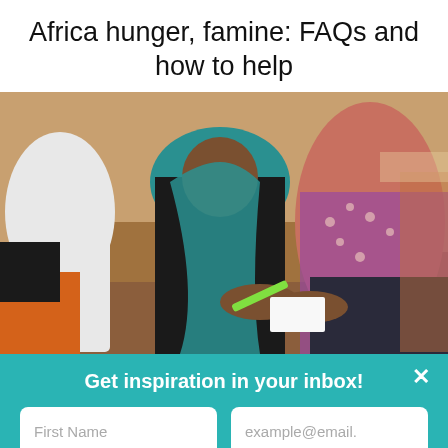Africa hunger, famine: FAQs and how to help
[Figure (photo): People gathered around a table, one person wearing a teal headscarf leaning over writing or working on something, others seated nearby in a classroom or community setting]
Get inspiration in your inbox!
First Name
example@email.
SUBMIT